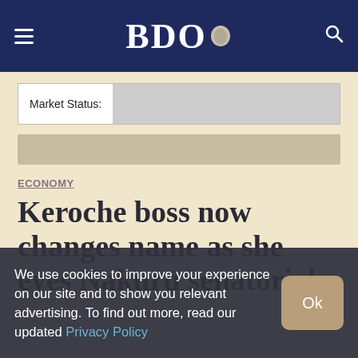BDO
Market Status:
[Figure (other): Advertisement or ticker banner placeholder]
ECONOMY
Keroche boss now changes name as she eyes Nakuru senatorial
We use cookies to improve your experience on our site and to show you relevant advertising. To find out more, read our updated Privacy Policy